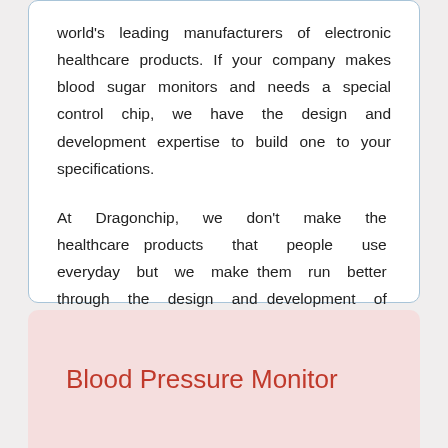world's leading manufacturers of electronic healthcare products. If your company makes blood sugar monitors and needs a special control chip, we have the design and development expertise to build one to your specifications.

At Dragonchip, we don't make the healthcare products that people use everyday but we make them run better through the design and development of smarter, faster and cheaper embedded systems-on-chip solutions.
Blood Pressure Monitor